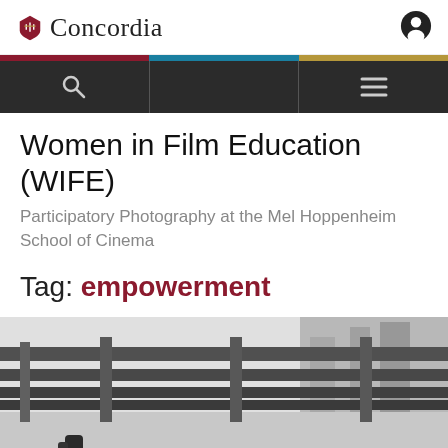Concordia
Women in Film Education (WIFE)
Participatory Photography at the Mel Hoppenheim School of Cinema
Tag: empowerment
[Figure (photo): Black and white photograph of metal bridge railings shot at a low angle, with a shadow of a person visible on the ground below.]